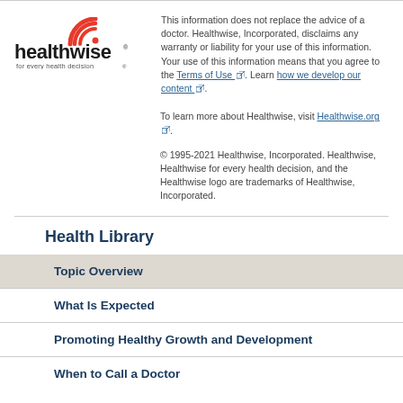[Figure (logo): Healthwise logo with red wifi-like arc symbol and text 'healthwise for every health decision']
This information does not replace the advice of a doctor. Healthwise, Incorporated, disclaims any warranty or liability for your use of this information. Your use of this information means that you agree to the Terms of Use. Learn how we develop our content.
To learn more about Healthwise, visit Healthwise.org.
© 1995-2021 Healthwise, Incorporated. Healthwise, Healthwise for every health decision, and the Healthwise logo are trademarks of Healthwise, Incorporated.
Health Library
Topic Overview
What Is Expected
Promoting Healthy Growth and Development
When to Call a Doctor